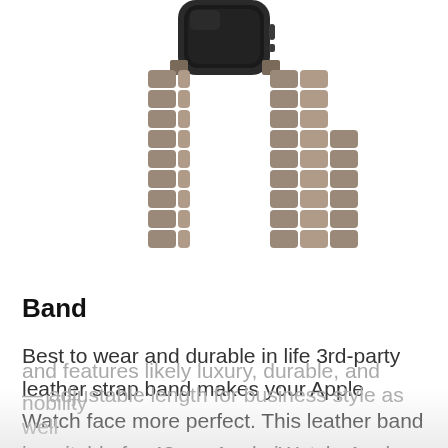[Figure (photo): Apple Watch with a brown/taupe leather loop band, showing the magnetic folded leather segments of the band against a white background.]
Band
Best to wear and durable in life 3rd-party leather strap band makes your Apple Watch face more perfect. This leather band is suitable for 42mm Apple iWatch, Apple Watch Sport, and Apple Watch Edition. The band designed as a dual folder over clasp so easy to take on and remove too. It's made with a great finish and features likely luxury, durable, and nobility — adjustable length for business style as well